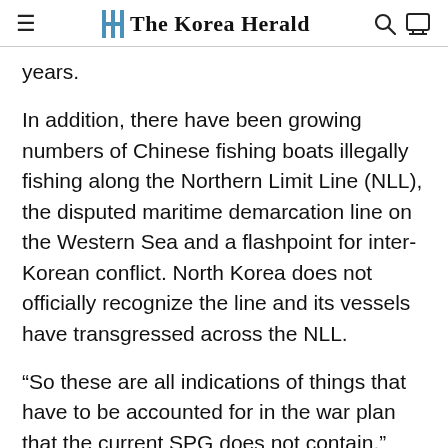The Korea Herald
years.
In addition, there have been growing numbers of Chinese fishing boats illegally fishing along the Northern Limit Line (NLL), the disputed maritime demarcation line on the Western Sea and a flashpoint for inter-Korean conflict. North Korea does not officially recognize the line and its vessels have transgressed across the NLL.
“So these are all indications of things that have to be accounted for in the war plan that the current SPG does not contain,” Gen. Abrams said.